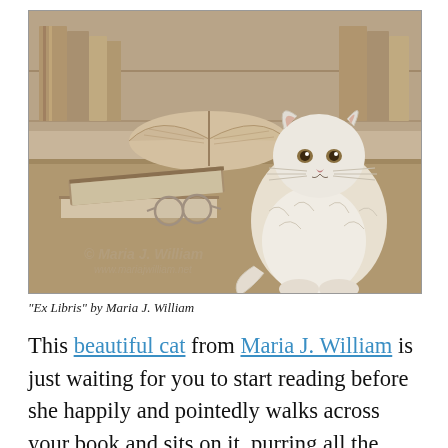[Figure (illustration): Pencil/sepia illustration of a fluffy white cat sitting among stacks of books and an open book with reading glasses. Copyright watermark 'Maria J. William' and 'www.mariajwilliam.net' visible. Title 'Ex Libris' by artist.]
"Ex Libris" by Maria J. William
This beautiful cat from Maria J. William is just waiting for you to start reading before she happily and pointedly walks across your book and sits on it, purring all the while. You can